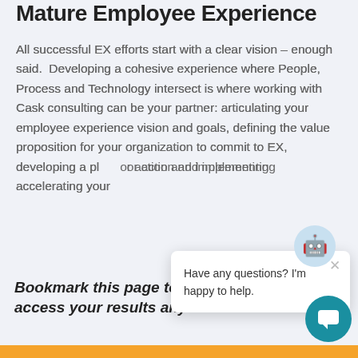Mature Employee Experience
All successful EX efforts start with a clear vision – enough said.  Developing a cohesive experience where People, Process and Technology intersect is where working with Cask consulting can be your partner: articulating your employee experience vision and goals, defining the value proposition for your organization to commit to EX, developing a plan for action and implementing and accelerating your
Bookmark this page to quickly access your results any time!
[Figure (screenshot): Chat popup overlay with icon and message: Have any questions? I'm happy to help.]
[Figure (other): Yellow bottom bar]